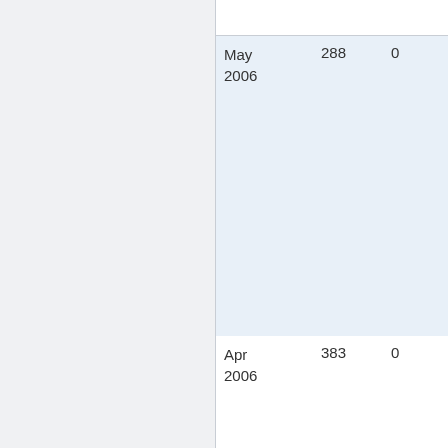| Date | Value1 | Value2 |
| --- | --- | --- |
| May 2006 | 288 | 0 |
| Apr 2006 | 383 | 0 |